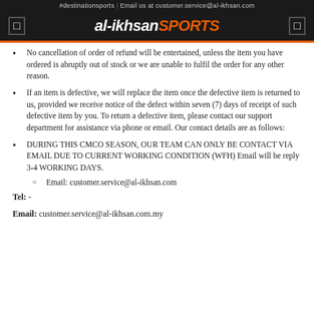#destinationsports | Email us at customer.service@al-ikhsan.com
al-ikhsan SPORTS
No cancellation of order of refund will be entertained, unless the item you have ordered is abruptly out of stock or we are unable to fulfil the order for any other reason.
If an item is defective, we will replace the item once the defective item is returned to us, provided we receive notice of the defect within seven (7) days of receipt of such defective item by you. To return a defective item, please contact our support department for assistance via phone or email. Our contact details are as follows:
DURING THIS CMCO SEASON, OUR TEAM CAN ONLY BE CONTACT VIA EMAIL DUE TO CURRENT WORKING CONDITION (WFH) Email will be reply 3-4 WORKING DAYS.
Email: customer.service@al-ikhsan.com
Tel: -
Email: customer.service@al-ikhsan.com.my